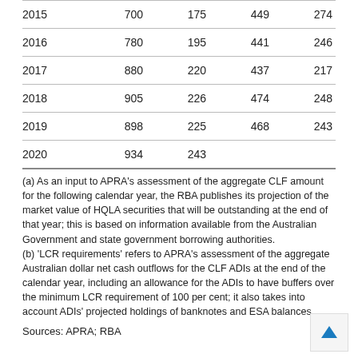| 2015 | 700 | 175 | 449 | 274 |
| 2016 | 780 | 195 | 441 | 246 |
| 2017 | 880 | 220 | 437 | 217 |
| 2018 | 905 | 226 | 474 | 248 |
| 2019 | 898 | 225 | 468 | 243 |
| 2020 | 934 | 243 |  |  |
(a) As an input to APRA's assessment of the aggregate CLF amount for the following calendar year, the RBA publishes its projection of the market value of HQLA securities that will be outstanding at the end of that year; this is based on information available from the Australian Government and state government borrowing authorities.
(b) 'LCR requirements' refers to APRA's assessment of the aggregate Australian dollar net cash outflows for the CLF ADIs at the end of the calendar year, including an allowance for the ADIs to have buffers over the minimum LCR requirement of 100 per cent; it also takes into account ADIs' projected holdings of banknotes and ESA balances.
Sources: APRA; RBA